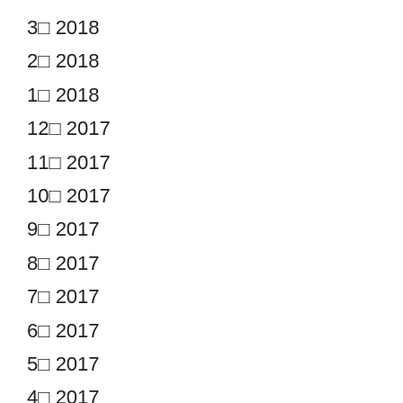3□ 2018
2□ 2018
1□ 2018
12□ 2017
11□ 2017
10□ 2017
9□ 2017
8□ 2017
7□ 2017
6□ 2017
5□ 2017
4□ 2017
3□ 2017